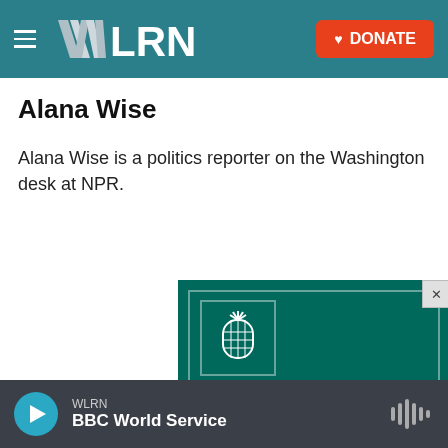WLRN | DONATE
Alana Wise
Alana Wise is a politics reporter on the Washington desk at NPR.
[Figure (advertisement): Green advertisement banner with pineapple logo and text 'EXPERTS IN BRAIN &']
WLRN | BBC World Service